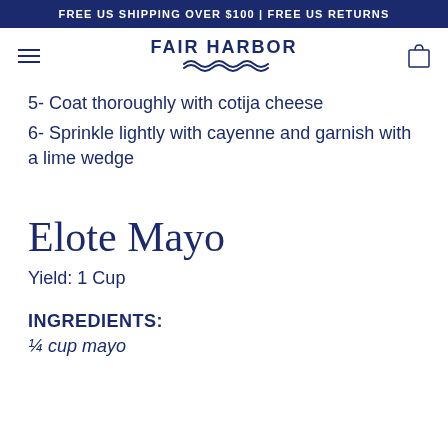FREE US SHIPPING OVER $100 | FREE US RETURNS
[Figure (logo): Fair Harbor logo with wave design underneath text]
5- Coat thoroughly with cotija cheese
6- Sprinkle lightly with cayenne and garnish with a lime wedge
Elote Mayo
Yield: 1 Cup
INGREDIENTS:
¼ cup mayo